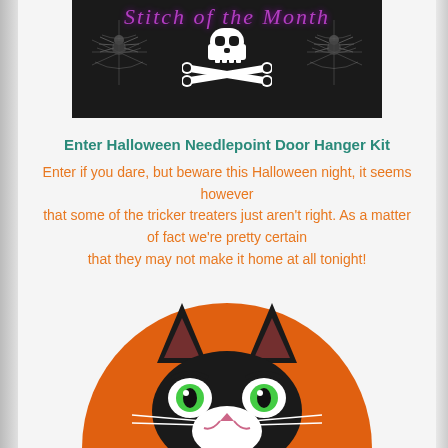[Figure (illustration): Dark Halloween banner with skull and crossbones in white pixel art style, purple/pink decorative text above, spider web decorations on sides, black background]
Enter Halloween Needlepoint Door Hanger Kit
Enter if you dare, but beware this Halloween night, it seems however that some of the tricker treaters just aren't right. As a matter of fact we're pretty certain that they may not make it home at all tonight!
[Figure (illustration): Needlepoint cross-stitch artwork showing a black cat face with green eyes on an orange circular background, partially cropped at bottom of page]